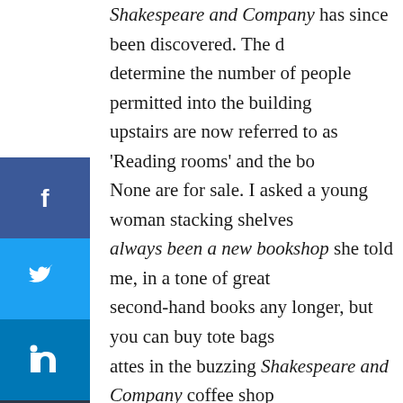Shakespeare and Company has since been discovered. The determine the number of people permitted into the building upstairs are now referred to as 'Reading rooms' and the bo None are for sale. I asked a young woman stacking shelves always been a new bookshop she told me, in a tone of great second-hand books any longer, but you can buy tote bags attes in the buzzing Shakespeare and Company coffee shop
[Figure (other): Social media share buttons sidebar: Facebook (blue), Twitter (light blue), LinkedIn (dark blue), Email (dark), Copy link (dark)]
The city was full of people taking pictures of themselves and pictures too of course, although not of myself. I have almost months I spent in Paris in the 1980s. I don't recall having a ca
decided to make one last attempt at a Proustian experienc cafe Les Deux Magots on Boulevard St Germain. It was popu including Sartre, de Beauvoir, Joyce and Hemingway would as Le rendez-vous de l'elite intellectuelle. We were students a 'chocolat chaud' was an expensive treat. We always asked t could watch the street performers.
I had been told that it can take 30 minutes to get a table at with low expectations. It was lunchtime on a sunny Saturday Then, as if by magic, a smartly-dressed waiter unclipped th